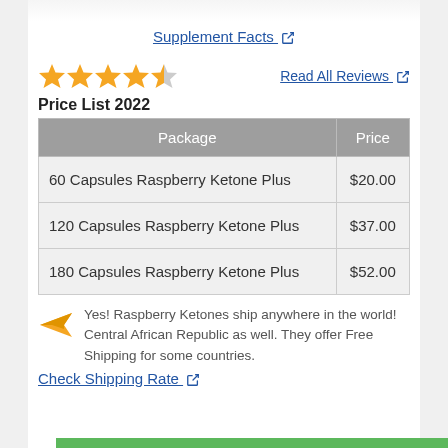Supplement Facts ↗
[Figure (other): 4.5 out of 5 stars rating (4 full stars and 1 half star, orange/gold color)]
Read All Reviews ↗
Price List 2022
| Package | Price |
| --- | --- |
| 60 Capsules Raspberry Ketone Plus | $20.00 |
| 120 Capsules Raspberry Ketone Plus | $37.00 |
| 180 Capsules Raspberry Ketone Plus | $52.00 |
Yes! Raspberry Ketones ship anywhere in the world! Central African Republic as well. They offer Free Shipping for some countries.
Check Shipping Rate ↗